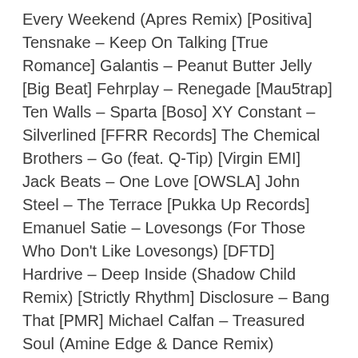Every Weekend (Apres Remix) [Positiva] Tensnake – Keep On Talking [True Romance] Galantis – Peanut Butter Jelly [Big Beat] Fehrplay – Renegade [Mau5trap] Ten Walls – Sparta [Boso] XY Constant – Silverlined [FFRR Records] The Chemical Brothers – Go (feat. Q-Tip) [Virgin EMI] Jack Beats – One Love [OWSLA] John Steel – The Terrace [Pukka Up Records] Emanuel Satie – Lovesongs (For Those Who Don't Like Lovesongs) [DFTD] Hardrive – Deep Inside (Shadow Child Remix) [Strictly Rhythm] Disclosure – Bang That [PMR] Michael Calfan – Treasured Soul (Amine Edge & Dance Remix) [OMT/Warner] Jamie Jones – Turning Tables [Crosstown Rebels] Hot Natured – Planet Us [FFRR] Kevin Knapp – The Heft [Hot Creations] Kydus – Jupiter Rising [Circus Recordings] Mais Void – Return To Bliss (The Models Dance To Trance Remix) [Born Electric] Sasha – Ether [Last Night On Earth] Kollektiv Turmstrasse – Sorry I'm Late [Permanent Vacation] Soulphiction – Move It